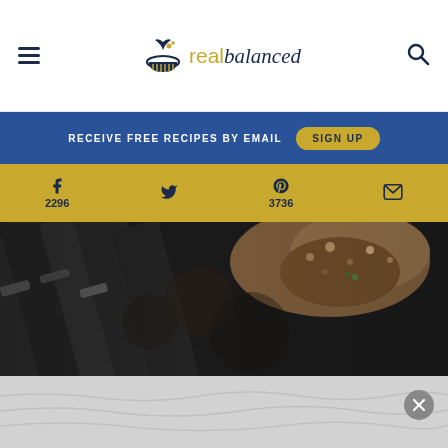real balanced — navigation header with hamburger menu, logo, and search icon
RECEIVE FREE RECIPES BY EMAIL   SIGN UP
2296   3736
[Figure (photo): Close-up blurred food photo showing dark cast iron pan with cooked meat or mushroom mixture, bokeh background with green herbs visible]
[Figure (photo): Bottom advertisement overlay area, light gray background with X close button]